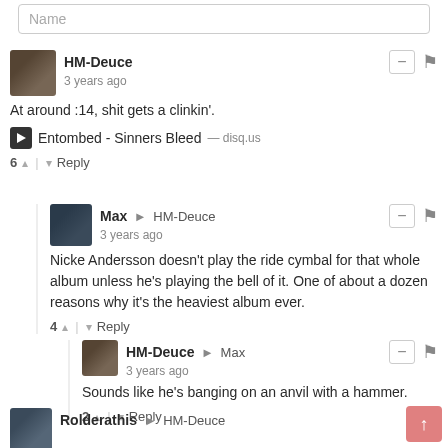Name
HM-Deuce
3 years ago
At around :14, shit gets a clinkin'.
▶ Entombed - Sinners Bleed — disq.us
6 ▲ | ▼ Reply
Max → HM-Deuce
3 years ago
Nicke Andersson doesn't play the ride cymbal for that whole album unless he's playing the bell of it. One of about a dozen reasons why it's the heaviest album ever.
4 ▲ | ▼ Reply
HM-Deuce → Max
3 years ago
Sounds like he's banging on an anvil with a hammer.
2 ▲ | ▼ Reply
Rolderathis → HM-Deuce